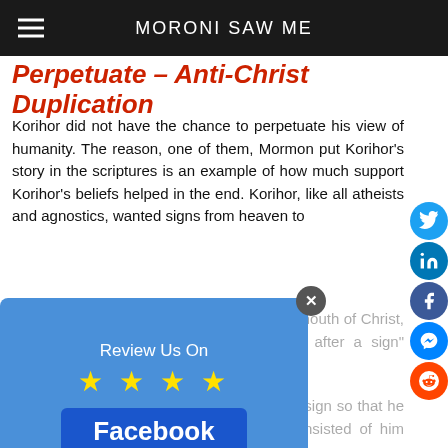MORONI SAW ME
Perpetuate – Anti-Christ Duplication
Korihor did not have the chance to perpetuate his view of humanity. The reason, one of them, Mormon put Korihor's story in the scriptures is an example of how much support Korihor's beliefs helped in the end. Korihor, like all atheists and agnostics, wanted signs from heaven to prove a belief. The scriptures teach by the mouth of Christ, "wicked and adulterous generations seek after a sign" Matthew 16:4.
[Figure (screenshot): Facebook Review Us On popup with 4 stars and Facebook button]
Korihor then sought a high priest, to give a sign so that he would believe. Alma told him the sign consisted of him becoming mute. After it